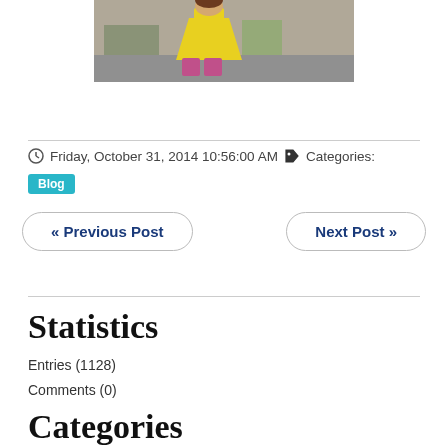[Figure (photo): Partial photo of a child wearing a yellow dress and pink boots]
Friday, October 31, 2014 10:56:00 AM   Categories:
Blog
« Previous Post
Next Post »
Statistics
Entries (1128)
Comments (0)
Categories